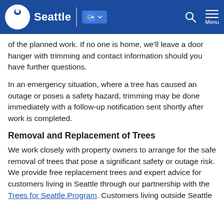Seattle
of the planned work. If no one is home, we'll leave a door hanger with trimming and contact information should you have further questions.
In an emergency situation, where a tree has caused an outage or poses a safety hazard, trimming may be done immediately with a follow-up notification sent shortly after work is completed.
Removal and Replacement of Trees
We work closely with property owners to arrange for the safe removal of trees that pose a significant safety or outage risk. We provide free replacement trees and expert advice for customers living in Seattle through our partnership with the Trees for Seattle Program. Customers living outside Seattle